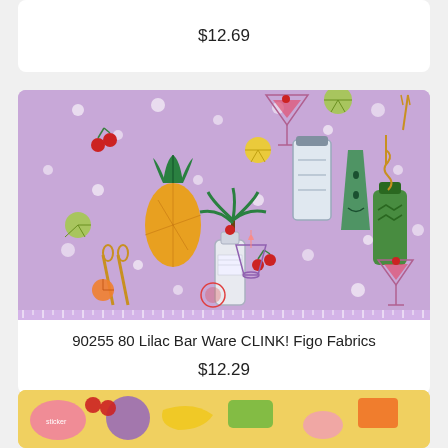$12.69
[Figure (photo): Fabric swatch with bar ware / cocktail theme on lilac/purple background, featuring illustrations of pineapples, cocktail glasses, bottles, cherries, palm trees, citrus fruits, cocktail shakers, corkscrews, and other bar tools.]
90255 80 Lilac Bar Ware CLINK! Figo Fabrics
$12.29
[Figure (photo): Partial fabric swatch with colorful food/snack theme on yellow background, partially visible.]